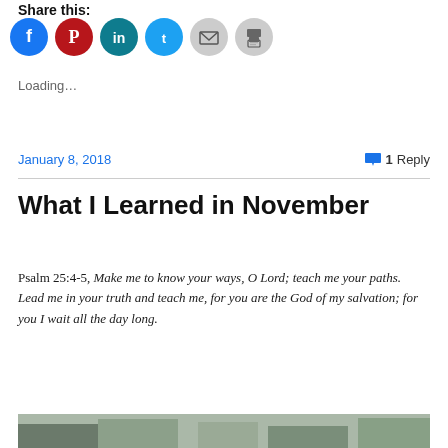Share this:
[Figure (infographic): Row of social media sharing icons: Facebook (blue circle), Pinterest (dark red circle), LinkedIn (teal circle), Twitter (light blue circle), Email (light grey circle), Print (light grey circle)]
Loading...
January 8, 2018    💬 1 Reply
What I Learned in November
Psalm 25:4-5, Make me to know your ways, O Lord; teach me your paths. Lead me in your truth and teach me, for you are the God of my salvation; for you I wait all the day long.
[Figure (photo): Partial photo of a building or house with trees, bottom of page]